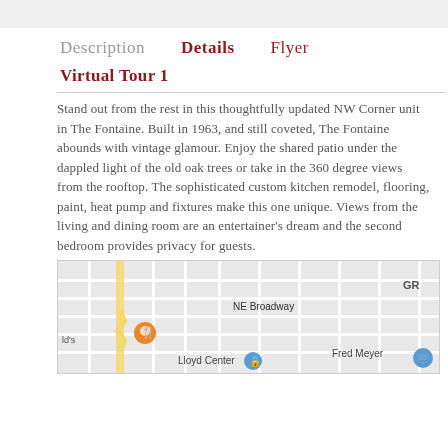Description   Details   Flyer
Virtual Tour 1
Stand out from the rest in this thoughtfully updated NW Corner unit in The Fontaine. Built in 1963, and still coveted, The Fontaine abounds with vintage glamour. Enjoy the shared patio under the dappled light of the old oak trees or take in the 360 degree views from the rooftop. The sophisticated custom kitchen remodel, flooring, paint, heat pump and fixtures make this one unique. Views from the living and dining room are an entertainer's dream and the second bedroom provides privacy for guests.
[Figure (map): Street map showing NE Broadway, Lloyd Center, Fred Meyer locations in Portland area]